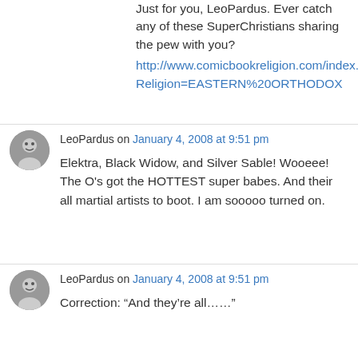Just for you, LeoPardus. Ever catch any of these SuperChristians sharing the pew with you? http://www.comicbookreligion.com/index.php?Religion=EASTERN%20ORTHODOX
LeoPardus on January 4, 2008 at 9:51 pm
Elektra, Black Widow, and Silver Sable! Wooeee! The O's got the HOTTEST super babes. And their all martial artists to boot. I am sooooo turned on.
LeoPardus on January 4, 2008 at 9:51 pm
Correction: “And they’re all……”